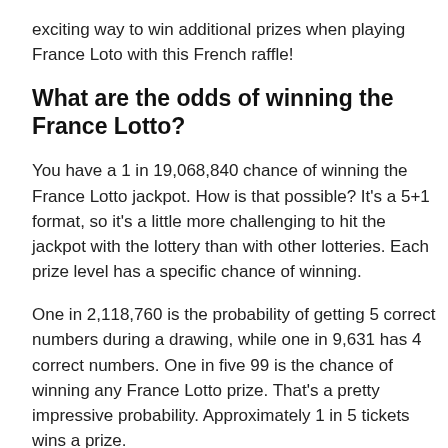exciting way to win additional prizes when playing France Loto with this French raffle!
What are the odds of winning the France Lotto?
You have a 1 in 19,068,840 chance of winning the France Lotto jackpot. How is that possible? It's a 5+1 format, so it's a little more challenging to hit the jackpot with the lottery than with other lotteries. Each prize level has a specific chance of winning.
One in 2,118,760 is the probability of getting 5 correct numbers during a drawing, while one in 9,631 has 4 correct numbers. One in five 99 is the chance of winning any France Lotto prize. That's a pretty impressive probability. Approximately 1 in 5 tickets wins a prize.